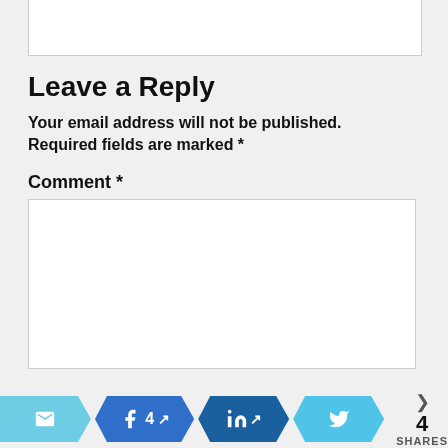[Figure (screenshot): Partially visible text input box at top of page]
Leave a Reply
Your email address will not be published.
Required fields are marked *
Comment *
[Figure (screenshot): Comment text area input box]
[Figure (infographic): Social share bar with email, Facebook (4 shares), LinkedIn, and Twitter buttons, plus share count of 4 SHARES]